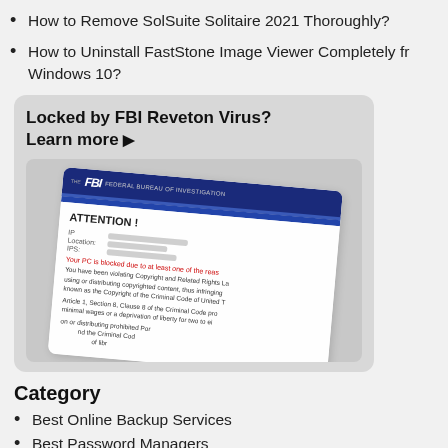How to Remove SolSuite Solitaire 2021 Thoroughly?
How to Uninstall FastStone Image Viewer Completely from Windows 10?
[Figure (screenshot): Advertisement box with checkered gray background showing 'Locked by FBI Reveton Virus? Learn more ▶' headline and a tilted screenshot of an FBI Reveton ransomware lock screen with ATTENTION header, IP/Location/IPS fields, and warning text.]
Category
Best Online Backup Services
Best Password Managers